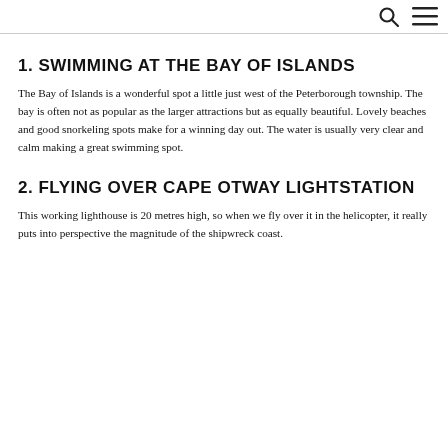🔍 ≡
1. SWIMMING AT THE BAY OF ISLANDS
The Bay of Islands is a wonderful spot a little just west of the Peterborough township. The bay is often not as popular as the larger attractions but as equally beautiful. Lovely beaches and good snorkeling spots make for a winning day out. The water is usually very clear and calm making a great swimming spot.
2. FLYING OVER CAPE OTWAY LIGHTSTATION
This working lighthouse is 20 metres high, so when we fly over it in the helicopter, it really puts into perspective the magnitude of the shipwreck coast.